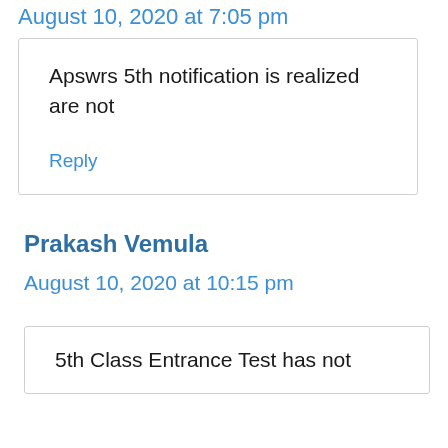August 10, 2020 at 7:05 pm
Apswrs 5th notification is realized are not
Reply
Prakash Vemula
August 10, 2020 at 10:15 pm
5th Class Entrance Test has not